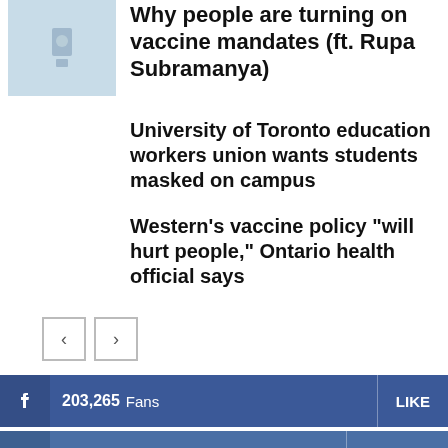Why people are turning on vaccine mandates (ft. Rupa Subramanya)
University of Toronto education workers union wants students masked on campus
Western’s vaccine policy “will hurt people,” Ontario health official says
< >
203,265  Fans  LIKE
81,500  Followers  FOLLOW
3,467  Followers  FOLLOW